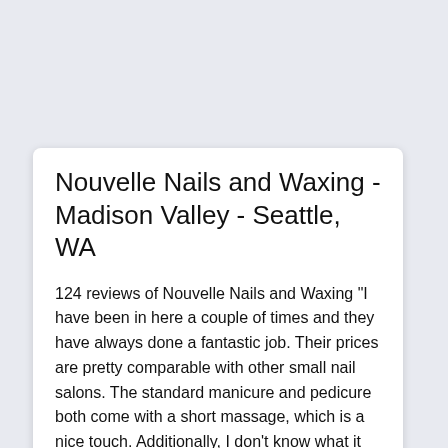Nouvelle Nails and Waxing - Madison Valley - Seattle, WA
124 reviews of Nouvelle Nails and Waxing "I have been in here a couple of times and they have always done a fantastic job. Their prices are pretty comparable with other small nail salons. The standard manicure and pedicure both come with a short massage, which is a nice touch. Additionally, I don't know what it is, but the polish I have gotten here just seems to last longer than at other places.
More